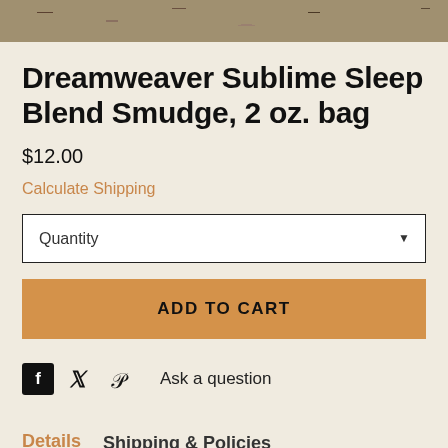[Figure (photo): Partial product photo showing herbs/smudge blend mixture at top of page]
Dreamweaver Sublime Sleep Blend Smudge, 2 oz. bag
$12.00
Calculate Shipping
Quantity
ADD TO CART
Ask a question
Details   Shipping & Policies